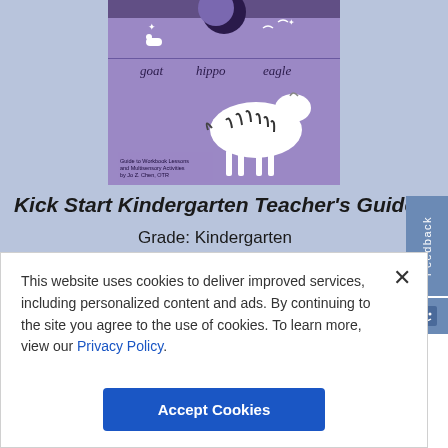[Figure (illustration): Book cover for 'Kick Start Kindergarten Teacher's Guide' showing a purple background with a zebra illustration, animals (goat, hippo, eagle), and subtitle text 'Guide to Workbook Lessons and Multisensory Activities by Jo Z. Chen, OTR']
Kick Start Kindergarten Teacher's Guide
Grade: Kindergarten
This website uses cookies to deliver improved services, including personalized content and ads. By continuing to the site you agree to the use of cookies. To learn more, view our Privacy Policy.
Accept Cookies